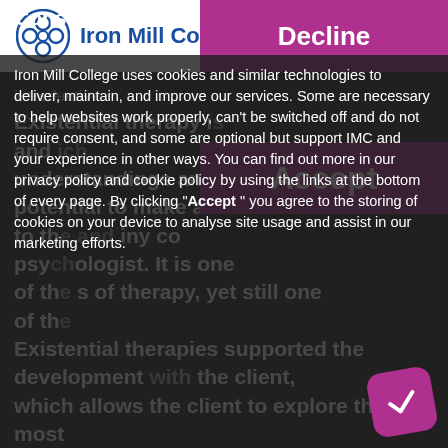Iron Mill College
Existential therapy is and ich understandings and methods that has the potential to make a valuable contribution to the and iny co psychologist. It is one of the s of therapy, yet still one of th Existential therapies supported the development with the client, which allows the client to explore the most fundamental aspects of their existence. This includes questions like: 'What is the meaning of my life?' 'What choices can I make?' and 'How do I face limits of my circumstances?' This workshop
Consent Request
Decline
Accept
Iron Mill College uses cookies and similar technologies to deliver, maintain, and improve our services. Some are necessary to help websites work properly, can't be switched off and do not require consent, and some are optional but support IMC and your experience in other ways. You can find out more in our privacy policy and cookie policy by using the links at the bottom of every page. By clicking "Accept" you agree to the storing of cookies on your device to analyse site usage and assist in our marketing efforts.